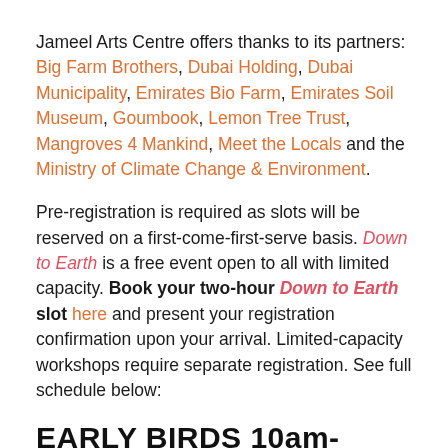Jameel Arts Centre offers thanks to its partners: Big Farm Brothers, Dubai Holding, Dubai Municipality, Emirates Bio Farm, Emirates Soil Museum, Goumbook, Lemon Tree Trust, Mangroves 4 Mankind, Meet the Locals and the Ministry of Climate Change & Environment.
Pre-registration is required as slots will be reserved on a first-come-first-serve basis. Down to Earth is a free event open to all with limited capacity. Book your two-hour Down to Earth slot here and present your registration confirmation upon your arrival. Limited-capacity workshops require separate registration. See full schedule below:
EARLY BIRDS 10am-12pm
Adult workshop: From Naturescape to Tablescape, 10:00-11:15am, Project Space|Find inspiration with Anoud Alzaben using fruits, vegetables and shrubbery to design